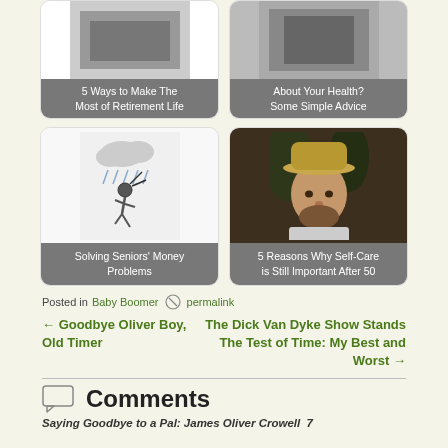[Figure (screenshot): Card: 5 Ways to Make The Most of Retirement Life]
[Figure (screenshot): Card: About Your Health? Some Simple Advice]
[Figure (illustration): Card with rain cartoon person: Solving Seniors' Money Problems]
[Figure (photo): Card with man in hat photo: 5 Reasons Why Self-Care is Still Important After 50]
Posted in Baby Boomer  permalink
← Goodbye Oliver Boy, Old Timer
The Dick Van Dyke Show Stands The Test of Time: My Best and Worst →
Comments
Saying Goodbye to a Pal: James Oliver Crowell  7